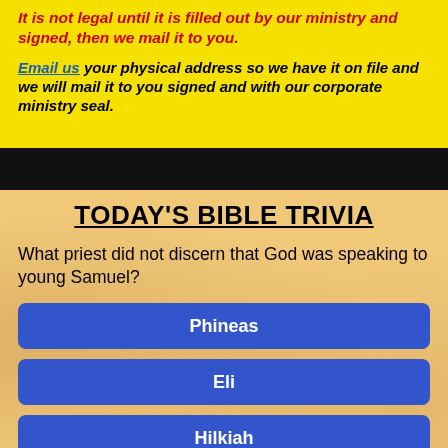It is not legal until it is filled out by our ministry and signed, then we mail it to you.
Email us your physical address so we have it on file and we will mail it to you signed and with our corporate ministry seal.
TODAY'S BIBLE TRIVIA
What priest did not discern that God was speaking to young Samuel?
Phineas
Eli
Hilkiah